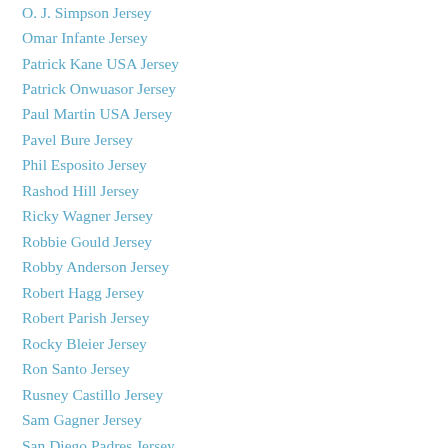O. J. Simpson Jersey
Omar Infante Jersey
Patrick Kane USA Jersey
Patrick Onwuasor Jersey
Paul Martin USA Jersey
Pavel Bure Jersey
Phil Esposito Jersey
Rashod Hill Jersey
Ricky Wagner Jersey
Robbie Gould Jersey
Robby Anderson Jersey
Robert Hagg Jersey
Robert Parish Jersey
Rocky Bleier Jersey
Ron Santo Jersey
Rusney Castillo Jersey
Sam Gagner Jersey
San Diego Padres Jersey
Seattle Seahawks Jersey